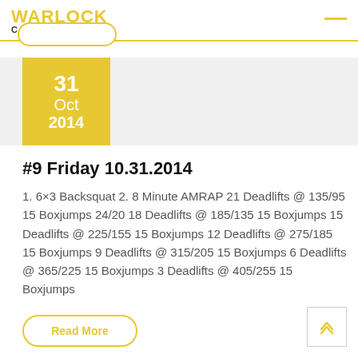WARLOCK CROSSFIT
31 Oct 2014
#9 Friday 10.31.2014
1. 6×3 Backsquat 2. 8 Minute AMRAP 21 Deadlifts @ 135/95 15 Boxjumps 24/20 18 Deadlifts @ 185/135 15 Boxjumps 15 Deadlifts @ 225/155 15 Boxjumps 12 Deadlifts @ 275/185 15 Boxjumps 9 Deadlifts @ 315/205 15 Boxjumps 6 Deadlifts @ 365/225 15 Boxjumps 3 Deadlifts @ 405/255 15 Boxjumps